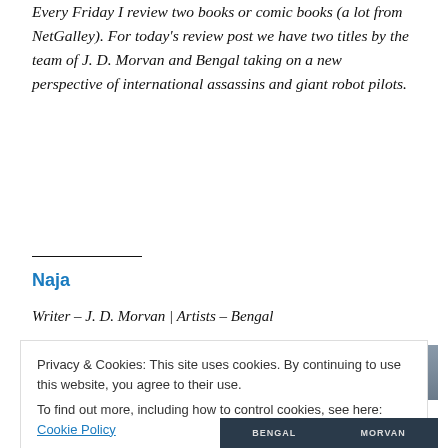Every Friday I review two books or comic books (a lot from NetGalley). For today's review post we have two titles by the team of J. D. Morvan and Bengal taking on a new perspective of international assassins and giant robot pilots.
Naja
Writer – J. D. Morvan | Artists – Bengal
[Figure (photo): Book cover image, partially visible, showing dark background with 'BENGAL' and 'MORVAN' text at bottom]
Privacy & Cookies: This site uses cookies. By continuing to use this website, you agree to their use.
To find out more, including how to control cookies, see here: Cookie Policy